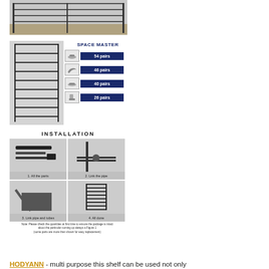[Figure (photo): Photo of a large shoe rack with multiple shelves holding many pairs of shoes and boots]
[Figure (infographic): Shoe rack capacity infographic labeled SPACE MASTER showing 54 pairs flat shoes, 46 pairs heels, 40 pairs sneakers, 26 pairs boots]
[Figure (infographic): Installation steps for shoe rack: 1. All the parts, 2. Link the pipe, 3. Link pipe and tubes, 4. All done. Note about checking package.]
HODYANN - multi purpose this shelf can be used not only